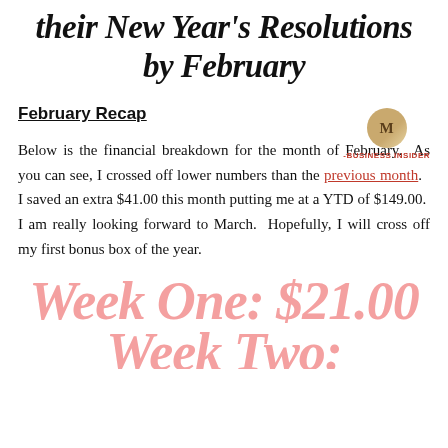their New Year's Resolutions by February
[Figure (logo): Circular gold logo with letter M, with -BUSINESS INSIDER text below]
February Recap
Below is the financial breakdown for the month of February.  As you can see, I crossed off lower numbers than the previous month.   I saved an extra $41.00 this month putting me at a YTD of $149.00.  I am really looking forward to March.  Hopefully, I will cross off my first bonus box of the year.
Week One: $21.00
Week Two: (partial, cut off)